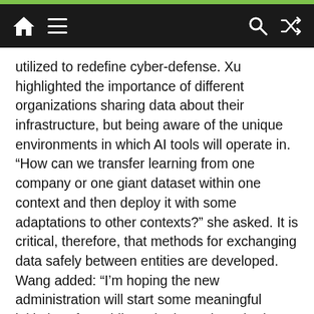Navigation bar with home, menu, search, and shuffle icons
utilized to redefine cyber-defense. Xu highlighted the importance of different organizations sharing data about their infrastructure, but being aware of the unique environments in which AI tools will operate in. “How can we transfer learning from one company or one giant dataset within one context and then deploy it with some adaptations to other contexts?” she asked. It is critical, therefore, that methods for exchanging data safely between entities are developed. Wang added: “I’m hoping the new administration will start some meaningful initiatives for public and private data sharing, and potentially utilizing emerging tech will allow you to exchange data without sacrificing privacy.” This approach will ultimately enable more accurate AI prediction